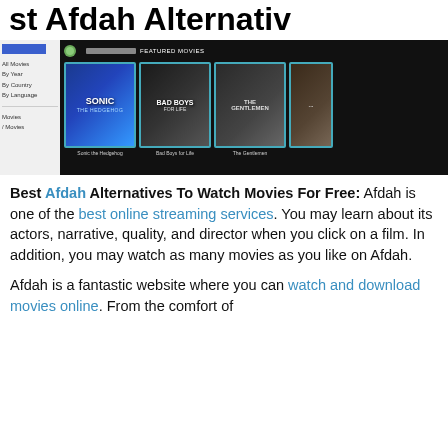est Afdah Alternativ
[Figure (screenshot): Screenshot of the Afdah website showing a dark interface with a left sidebar menu (All Movies, By Year, By Country, By Language) and featured movies section displaying movie posters including Sonic the Hedgehog, Bad Boys for Life, The Gentlemen, and another film.]
Best Afdah Alternatives To Watch Movies For Free: Afdah is one of the best online streaming services. You may learn about its actors, narrative, quality, and director when you click on a film. In addition, you may watch as many movies as you like on Afdah.
Afdah is a fantastic website where you can watch and download movies online. From the comfort of